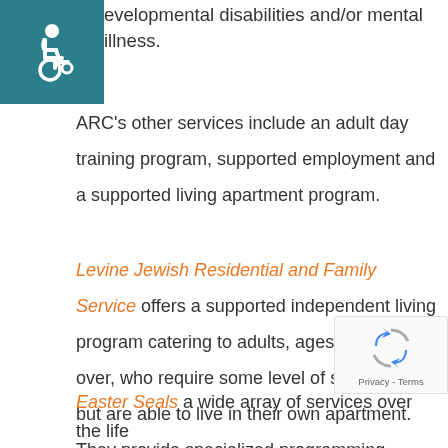[Figure (logo): Teal square with white wheelchair accessibility icon]
evelopmental disabilities and/or mental illness.
ARC's other services include an adult day training program, supported employment and a supported living apartment program.
Levine Jewish Residential and Family Service offers a supported independent living program catering to adults, ages 21 and over, who require some level of supervision but are able to live in their own apartment. They provide specialized programming, transportation, medication management and employment opportunities for residents.
[Figure (logo): reCAPTCHA badge with spinning arrows logo and Privacy - Terms text]
Easter Seals a wide array of services over the life